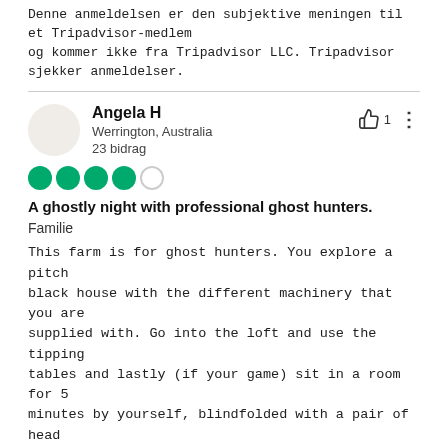Denne anmeldelsen er den subjektive meningen til et Tripadvisor-medlem og kommer ikke fra Tripadvisor LLC. Tripadvisor sjekker anmeldelser.
Angela H
Werrington, Australia
23 bidrag
[Figure (other): 4.5 out of 5 green circle rating (4 filled green circles, 1 empty circle)]
A ghostly night with professional ghost hunters.
Familie
This farm is for ghost hunters. You explore a pitch black house with the different machinery that you are supplied with. Go into the loft and use the tipping tables and lastly (if your game) sit in a room for 5 minutes by yourself, blindfolded with a pair of head phones on.
The cost includes a BBQ.
Finn ut mer
Google-oversetting